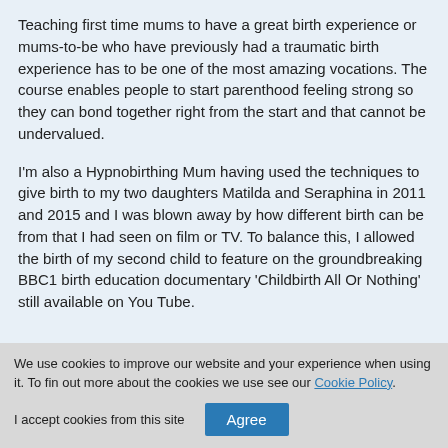Teaching first time mums to have a great birth experience or mums-to-be who have previously had a traumatic birth experience has to be one of the most amazing vocations. The course enables people to start parenthood feeling strong so they can bond together right from the start and that cannot be undervalued.
I'm also a Hypnobirthing Mum having used the techniques to give birth to my two daughters Matilda and Seraphina in 2011 and 2015 and I was blown away by how different birth can be from that I had seen on film or TV. To balance this, I allowed the birth of my second child to feature on the groundbreaking BBC1 birth education documentary 'Childbirth All Or Nothing' still available on You Tube.
We use cookies to improve our website and your experience when using it. To find out more about the cookies we use see our Cookie Policy.
I accept cookies from this site